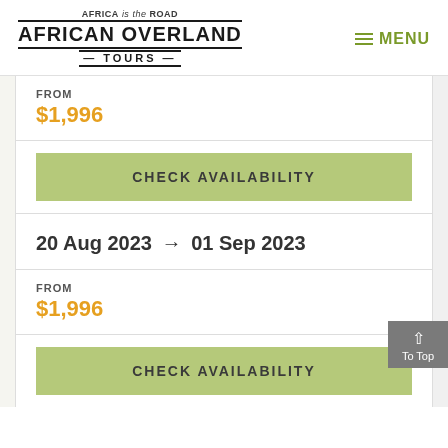[Figure (logo): African Overland Tours logo with 'Africa is the Road' tagline]
MENU
FROM
$1,996
CHECK AVAILABILITY
20 Aug 2023 → 01 Sep 2023
FROM
$1,996
CHECK AVAILABILITY
To Top